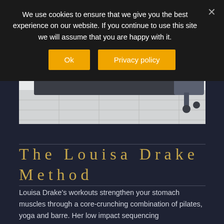We use cookies to ensure that we give you the best experience on our website. If you continue to use this site we will assume that you are happy with it.
[Figure (photo): A person using a Pilates reformer machine in a bright studio, viewed from the side, with resistance straps and a dark padded box/carriage visible.]
The Louisa Drake Method
Louisa Drake's workouts strengthen your stomach muscles through a core-crunching combination of pilates, yoga and barre. Her low impact sequencing